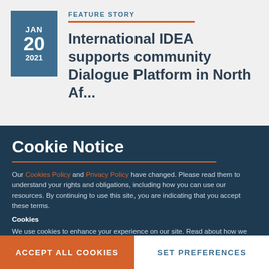JAN 20 2021
FEATURE STORY
International IDEA supports community Dialogue Platform in North Af...
Cookie Notice
Our Cookies Policy and Privacy Policy have changed. Please read them to understand your rights and obligations, including how you can use our resources. By continuing to use this site, you are indicating that you accept these terms.
Cookies
We use cookies to enhance your experience on our site. Read about how we use cookies and how you can control them here. By continuing to use this site, without changing your settings, you are indicating that you accept this policy.
ACCEPT ALL COOKIES
SET PREFERENCES